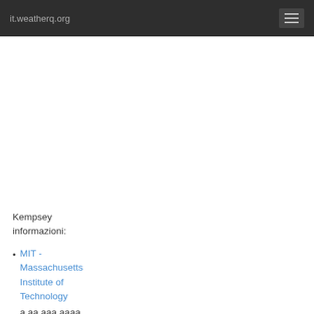it.weatherq.org
Kempsey informazioni:
MIT - Massachusetts Institute of Technology
a aa aaa aaaa aaacn aaah aaai aaas aab aabb aac aacc aaac aacbac